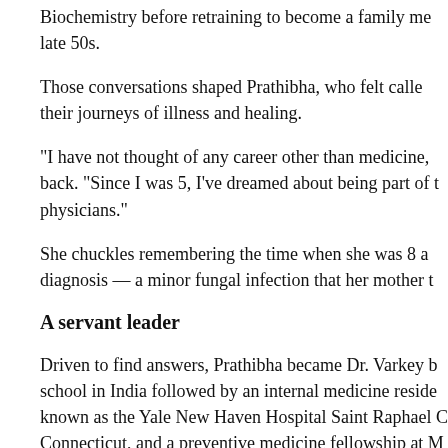Biochemistry before retraining to become a family me... late 50s.
Those conversations shaped Prathibha, who felt calle... their journeys of illness and healing.
"I have not thought of any career other than medicine,... back. "Since I was 5, I've dreamed about being part of t... physicians."
She chuckles remembering the time when she was 8 a... diagnosis — a minor fungal infection that her mother t...
A servant leader
Driven to find answers, Prathibha became Dr. Varkey b... school in India followed by an internal medicine reside... known as the Yale New Haven Hospital Saint Raphael C... Connecticut, and a preventive medicine fellowship at M...